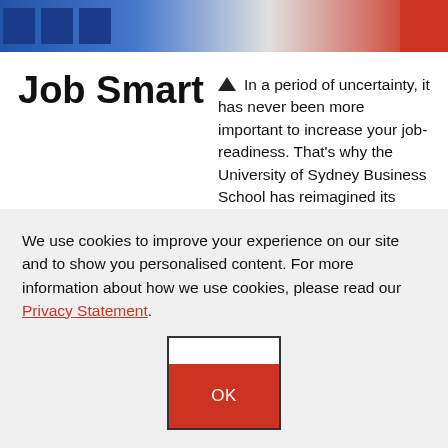[Figure (photo): Top banner image showing bar charts and a person, with blue and red color scheme]
Job Smart
In a period of uncertainty, it has never been more important to increase your job-readiness. That’s why the University of Sydney Business School has reimagined its award-winning international student employability
We use cookies to improve your experience on our site and to show you personalised content. For more information about how we use cookies, please read our Privacy Statement.
[Figure (other): OK button with white top and red bottom section]